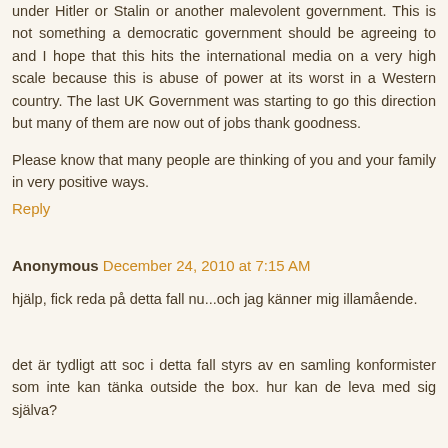under Hitler or Stalin or another malevolent government. This is not something a democratic government should be agreeing to and I hope that this hits the international media on a very high scale because this is abuse of power at its worst in a Western country. The last UK Government was starting to go this direction but many of them are now out of jobs thank goodness.
Please know that many people are thinking of you and your family in very positive ways.
Reply
Anonymous December 24, 2010 at 7:15 AM
hjälp, fick reda på detta fall nu...och jag känner mig illamående.
det är tydligt att soc i detta fall styrs av en samling konformister som inte kan tänka outside the box. hur kan de leva med sig själva?
vad kan man göra som medmänniska i detta fall, var är